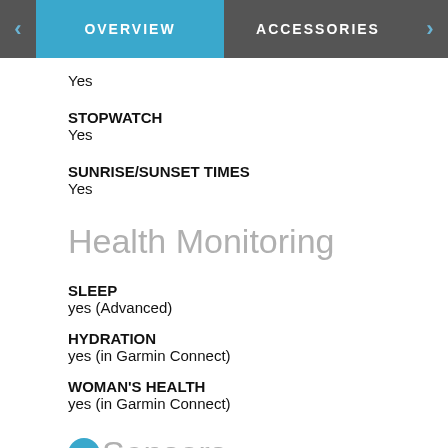OVERVIEW | ACCESSORIES
Yes
STOPWATCH
Yes
SUNRISE/SUNSET TIMES
Yes
Health Monitoring
SLEEP
yes (Advanced)
HYDRATION
yes (in Garmin Connect)
WOMAN'S HEALTH
yes (in Garmin Connect)
Sensors